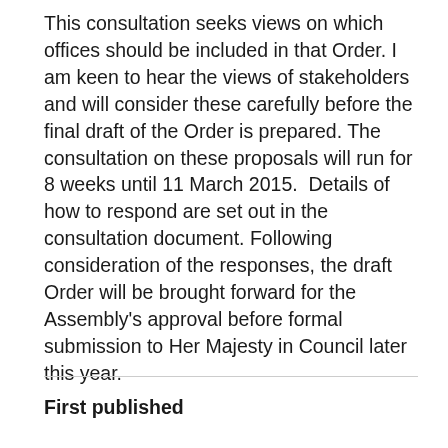This consultation seeks views on which offices should be included in that Order. I am keen to hear the views of stakeholders and will consider these carefully before the final draft of the Order is prepared. The consultation on these proposals will run for 8 weeks until 11 March 2015.  Details of how to respond are set out in the consultation document. Following consideration of the responses, the draft Order will be brought forward for the Assembly's approval before formal submission to Her Majesty in Council later this year.
First published